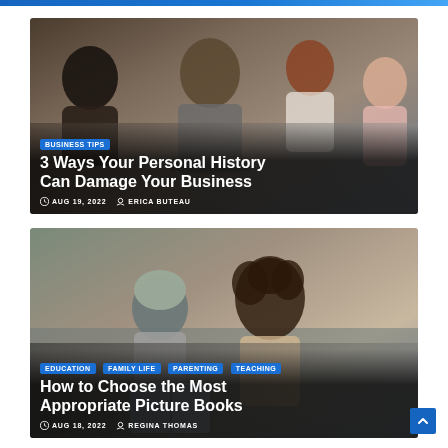[Figure (photo): People working together at a desk with laptops in a business setting]
BUSINESS TIPS
3 Ways Your Personal History Can Damage Your Business
AUG 19, 2022   ERICA BUTEAU
[Figure (photo): Two children sitting on a couch reading a picture book together]
EDUCATION  FAMILY LIFE  PARENTING  TEACHING
How to Choose the Most Appropriate Picture Books
AUG 18, 2022   REGINA THOMAS